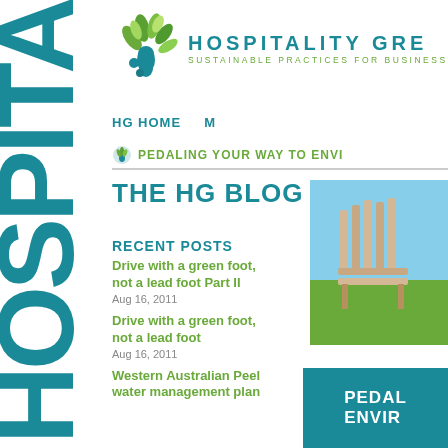[Figure (logo): Large teal vertical text reading HOSPITA clipped on left side of page]
[Figure (logo): Hospitality Green logo: green leaf/peacock feather SVG with teal and green colors]
HOSPITALITY GRE
SUSTAINABLE PRACTICES FOR BUSINESS
HG HOME  M
PEDALING YOUR WAY TO ENVI
THE HG BLOG
RECENT POSTS
Drive with a green foot, not a lead foot Part II
Aug 16, 2011
Drive with a green foot, not a lead foot
Aug 16, 2011
Western Australian Peel water management plan
[Figure (photo): Photo of wooden outdoor chair/furniture on green lawn under blue sky]
PEDAL ENVIR